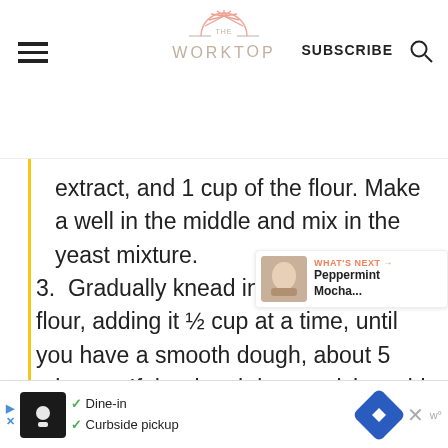THE WORKTOP | SUBSCRIBE
extract, and 1 cup of the flour. Make a well in the middle and mix in the yeast mixture.
3. Gradually knead in 1 ½ - 2 cups of flour, adding it ½ cup at a time, until you have a smooth dough, about 5 minutes. If the dough is too sticky, add in 1 tablespoon of flour at a time to
[Figure (other): What's Next promotional overlay with Peppermint Mocha thumbnail]
[Figure (other): Advertisement bar with Dine-in and Curbside pickup options]